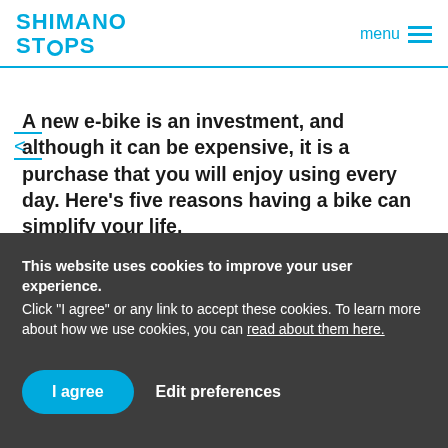SHIMANO STEPS | menu
A new e-bike is an investment, and although it can be expensive, it is a purchase that you will enjoy using every day. Here's five reasons having a bike can simplify your life.
This website uses cookies to improve your user experience.
Click "I agree" or any link to accept these cookies. To learn more about how we use cookies, you can read about them here.
I agree   Edit preferences